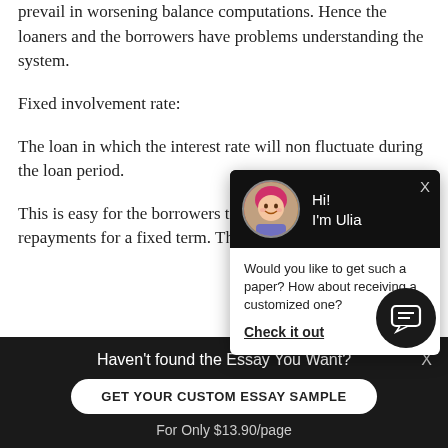prevail in worsening balance computations. Hence the loaners and the borrowers have problems understanding the system.
Fixed involvement rate:
The loan in which the interest rate will non fluctuate during the loan period.
This is easy for the borrowers to mensurate their repayments for a fixed term. The f
[Figure (screenshot): Chat popup widget with avatar of a woman with pink/red hair, greeting 'Hi! I'm Ulia', and message 'Would you like to get such a paper? How about receiving a customized one? Check it out']
Haven't found the Essay You Want?
GET YOUR CUSTOM ESSAY SAMPLE
For Only $13.90/page